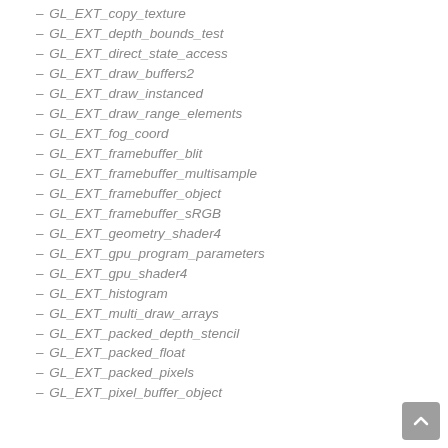– GL_EXT_copy_texture
– GL_EXT_depth_bounds_test
– GL_EXT_direct_state_access
– GL_EXT_draw_buffers2
– GL_EXT_draw_instanced
– GL_EXT_draw_range_elements
– GL_EXT_fog_coord
– GL_EXT_framebuffer_blit
– GL_EXT_framebuffer_multisample
– GL_EXT_framebuffer_object
– GL_EXT_framebuffer_sRGB
– GL_EXT_geometry_shader4
– GL_EXT_gpu_program_parameters
– GL_EXT_gpu_shader4
– GL_EXT_histogram
– GL_EXT_multi_draw_arrays
– GL_EXT_packed_depth_stencil
– GL_EXT_packed_float
– GL_EXT_packed_pixels
– GL_EXT_pixel_buffer_object